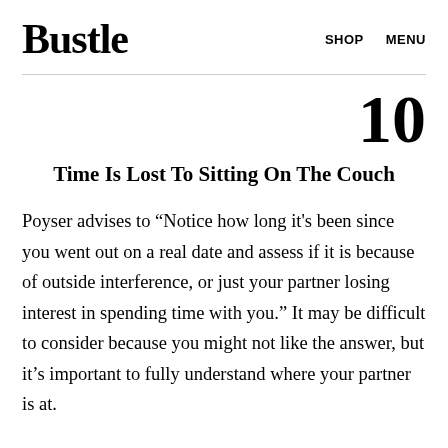Bustle   SHOP   MENU
10
Time Is Lost To Sitting On The Couch
Poyser advises to “Notice how long it's been since you went out on a real date and assess if it is because of outside interference, or just your partner losing interest in spending time with you.” It may be difficult to consider because you might not like the answer, but it’s important to fully understand where your partner is at.